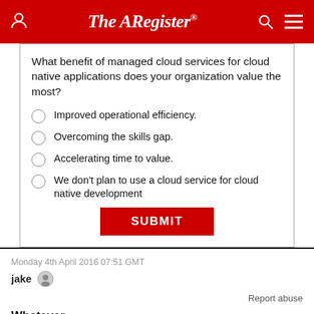The Register
What benefit of managed cloud services for cloud native applications does your organization value the most?
Improved operational efficiency.
Overcoming the skills gap.
Accelerating time to value.
We don't plan to use a cloud service for cloud native development
SUBMIT
Monday 4th April 2016 07:51 GMT
jake
Report abuse
Whatever.
My take on the subject: